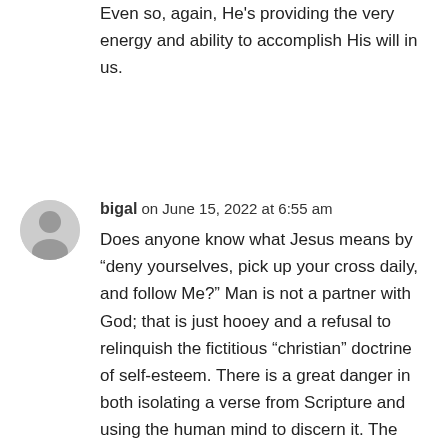Even so, again, He's providing the very energy and ability to accomplish His will in us.
bigal on June 15, 2022 at 6:55 am
Does anyone know what Jesus means by “deny yourselves, pick up your cross daily, and follow Me? ” Man is not a partner with God; that is just hooey and a refusal to relinquish the fictitious “christian” doctrine of self-esteem. There is a great danger in both isolating a verse from Scripture and using the human mind to discern it. The entire Cousel of God is always required, and despite that many believe otherwise, Scripture cannot be intellectualized. Jesus